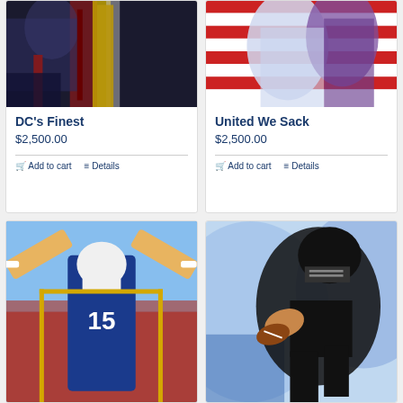[Figure (illustration): Sports art painting - DC's Finest, football/hockey themed dark painting]
DC's Finest
$2,500.00
Add to cart
Details
[Figure (illustration): Sports art painting - United We Sack, hockey players in red/white/blue]
United We Sack
$2,500.00
Add to cart
Details
[Figure (illustration): Sports art painting - football player #15 in blue jersey celebrating with arms raised]
[Figure (illustration): Sports art painting - football player in black uniform running with ball]